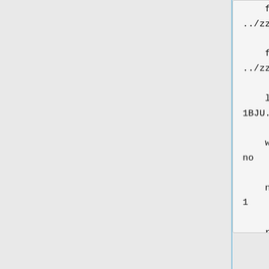flex_defn_file
../zzz.parameters/flex.defn

    flex_drive_file
../zzz.parameters/flex_drive.th

    ligand_outfile_prefix
1BJU.cartmin

    write_orientations
no

    num_scored_conformers
1

    rank_ligands
no
You'll need to make another minimization input file with similar contents:
conformer_search_type
rigid